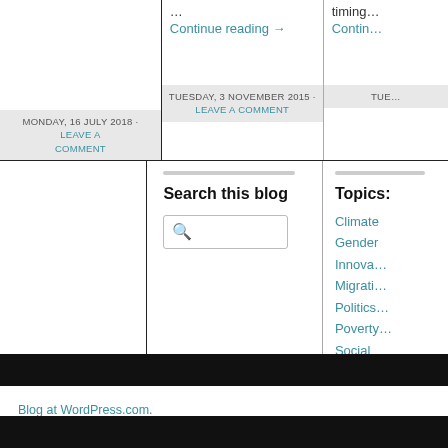...
Continue reading →
Continue reading →
Page-footer date bar: MONDAY, 16 JULY 2018 - LEAVE A COMMENT
Page-footer date bar: TUESDAY, 3 NOVEMBER 2015 - LEAVE A COMMENT
Search this blog
Topics:
Climate
Gender
Innovation
Migration
Politics
Poverty
Social
Urban
Blog at WordPress.com.